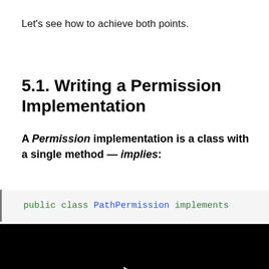Let's see how to achieve both points.
5.1. Writing a Permission Implementation
A Permission implementation is a class with a single method — implies:
[Figure (screenshot): Code block showing: public class PathPermission implements (truncated). Green and blue monospace text on light background with left border.]
[Figure (screenshot): Black video player area with white play button triangle in center.]